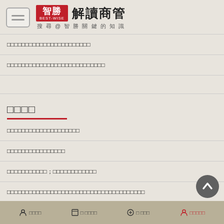智勝 解讀商管 BEST-WISE 搜尋@智勝關鍵的知識
□□□□□□□□□□□□□□□□□□□□□□□
□□□□□□□□□□□□□□□□□□□□□□□□□□□
□□□□
□□□□□□□□□□□□□□□□□□□□
□□□□□□□□□□□□□□□□
□□□□□□□□□□□；□□□□□□□□□□□□
□□□□□□□□□□□□□□□□□□□□□□□□□□□□□□□□□□□□□□
□□□□□  □ □□□□  □ □□□  □□□□□